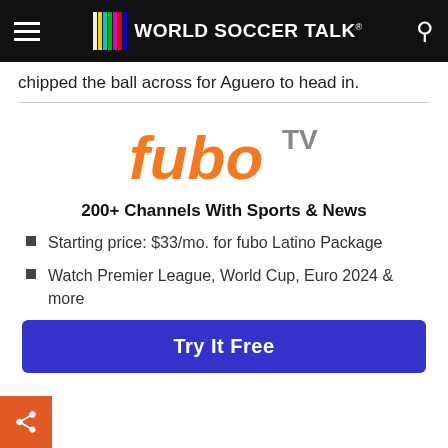World Soccer Talk
chipped the ball across for Aguero to head in.
[Figure (logo): fuboTV logo in orange with 'fubo' in stylized lowercase and 'TV' in gray superscript]
200+ Channels With Sports & News
Starting price: $33/mo. for fubo Latino Package
Watch Premier League, World Cup, Euro 2024 & more
Try It Free